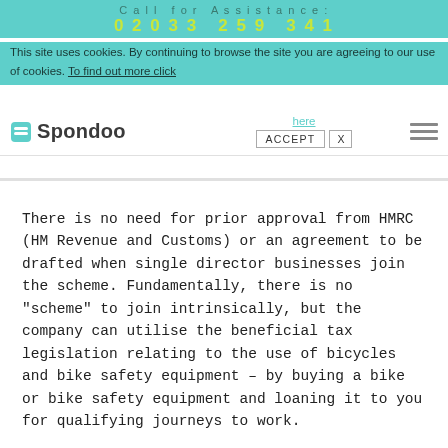Call for Assistance
02033 259 341
This site uses cookies. By continuing to browse the site you are agreeing to our use of cookies. To find out more click here
Spondoo | ACCEPT | X
There is no need for prior approval from HMRC (HM Revenue and Customs) or an agreement to be drafted when single director businesses join the scheme. Fundamentally, there is no "scheme" to join intrinsically, but the company can utilise the beneficial tax legislation relating to the use of bicycles and bike safety equipment – by buying a bike or bike safety equipment and loaning it to you for qualifying journeys to work.
After directly purchasing the bike, the company can reclaim VAT, where relevant, on the purchase price. For corporation tax purposes, a deduction